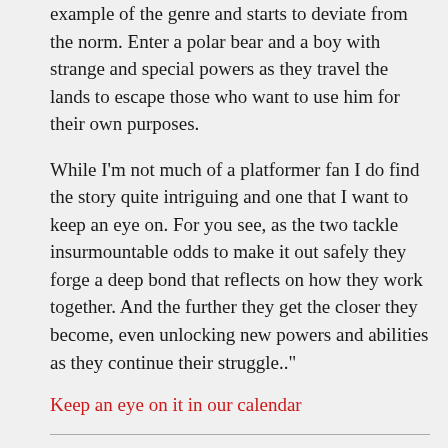example of the genre and starts to deviate from the norm. Enter a polar bear and a boy with strange and special powers as they travel the lands to escape those who want to use him for their own purposes.
While I'm not much of a platformer fan I do find the story quite intriguing and one that I want to keep an eye on. For you see, as the two tackle insurmountable odds to make it out safely they forge a deep bond that reflects on how they work together. And the further they get the closer they become, even unlocking new powers and abilities as they continue their struggle.."
Keep an eye on it in our calendar
The Rest of the Campaigns :